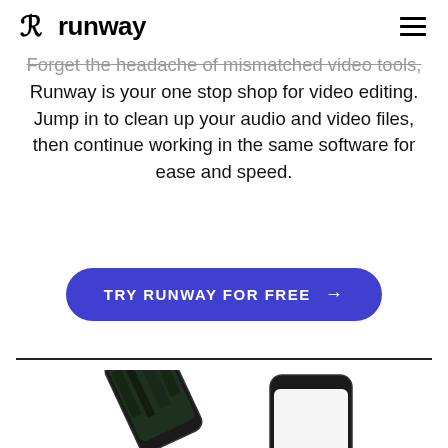runway
Forget the headache of mismatched video tools, Runway is your one stop shop for video editing. Jump in to clean up your audio and video files, then continue working in the same software for ease and speed.
TRY RUNWAY FOR FREE →
[Figure (screenshot): Two smartphones shown at bottom of page, one tilted showing a dark forest video, one upright showing the Runway app interface]